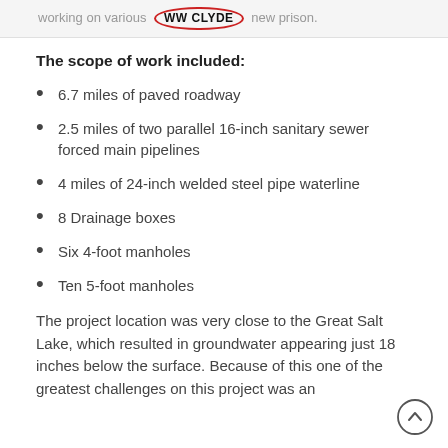working on various WW CLYDE new prison.
The scope of work included:
6.7 miles of paved roadway
2.5 miles of two parallel 16-inch sanitary sewer forced main pipelines
4 miles of 24-inch welded steel pipe waterline
8 Drainage boxes
Six 4-foot manholes
Ten 5-foot manholes
The project location was very close to the Great Salt Lake, which resulted in groundwater appearing just 18 inches below the surface. Because of this one of the greatest challenges on this project was an